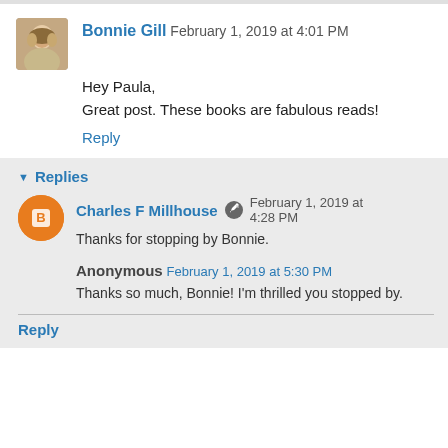Bonnie Gill  February 1, 2019 at 4:01 PM
Hey Paula,
Great post. These books are fabulous reads!
Reply
Replies
Charles F Millhouse  February 1, 2019 at 4:28 PM
Thanks for stopping by Bonnie.
Anonymous  February 1, 2019 at 5:30 PM
Thanks so much, Bonnie! I'm thrilled you stopped by.
Reply